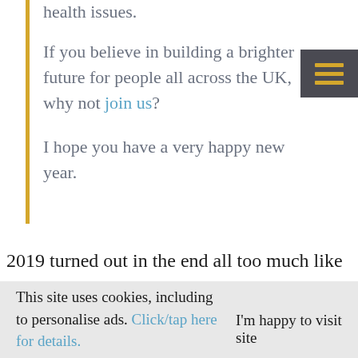health issues.
If you believe in building a brighter future for people all across the UK, why not join us?
I hope you have a very happy new year.
2019 turned out in the end all too much like my
This site uses cookies, including to personalise ads. Click/tap here for details.
I'm happy to visit site